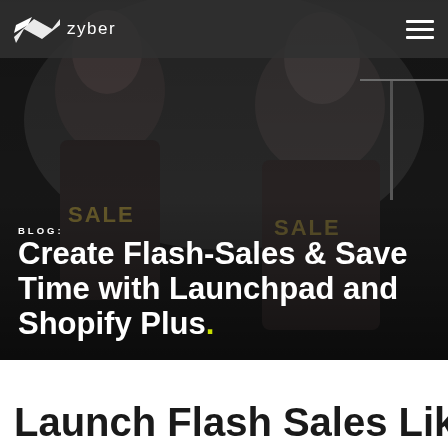zyber
[Figure (photo): Dark retail store background with two mannequins wearing black t-shirts that say SALE, dimly lit store environment]
BLOG:
Create Flash-Sales & Save Time with Launchpad and Shopify Plus.
Launch Flash Sales Like